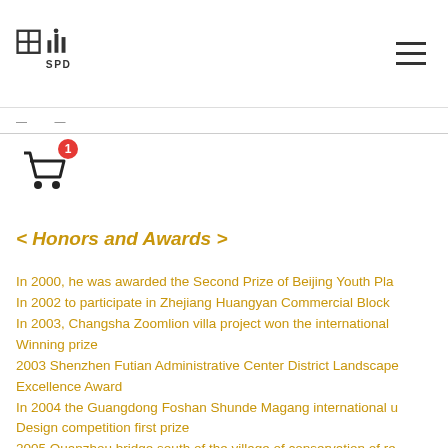SPD logo with hamburger menu
[Figure (logo): SPD company logo with Chinese characters and 'SPD' text]
[Figure (illustration): Shopping cart icon with red badge showing number 1]
< Honors and Awards >
In 2000, he was awarded the Second Prize of Beijing Youth Pla
In 2002 to participate in Zhejiang Huangyan Commercial Block
In 2003, Changsha Zoomlion villa project won the international 
Winning prize
2003 Shenzhen Futian Administrative Center District Landscape
Excellence Award
In 2004 the Guangdong Foshan Shunde Magang international u
Design competition first prize
2005 Quanzhou bridge south of the village of conservation of re